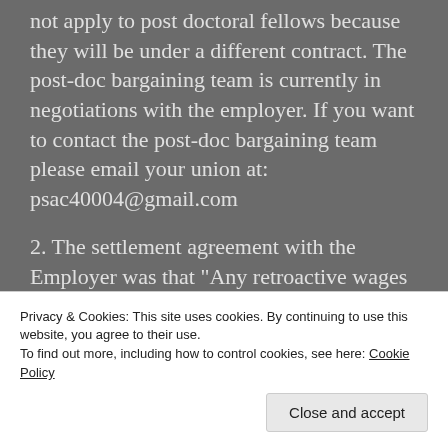not apply to post doctoral fellows because they will be under a different contract. The post-doc bargaining team is currently in negotiations with the employer. If you want to contact the post-doc bargaining team please email your union at: psac40004@gmail.com
2. The settlement agreement with the Employer was that “Any retroactive wages shall be paid only to members or former members of the bargaining unit who remain active University of Saskatchewan graduate students or who are on an approved leave from their
Privacy & Cookies: This site uses cookies. By continuing to use this website, you agree to their use.
To find out more, including how to control cookies, see here: Cookie Policy
Close and accept